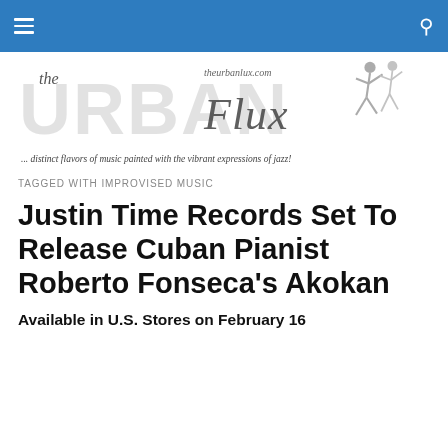The Urban Flux – theurbanlux.com
[Figure (logo): The Urban Flux logo with large stylized letters URBAN FLUX, script text 'the' and 'Flux', website URL 'theurbanlux.com', dancing figures silhouette, and tagline '... distinct flavors of music painted with the vibrant expressions of jazz!']
TAGGED WITH IMPROVISED MUSIC
Justin Time Records Set To Release Cuban Pianist Roberto Fonseca's Akokan
Available in U.S. Stores on February 16